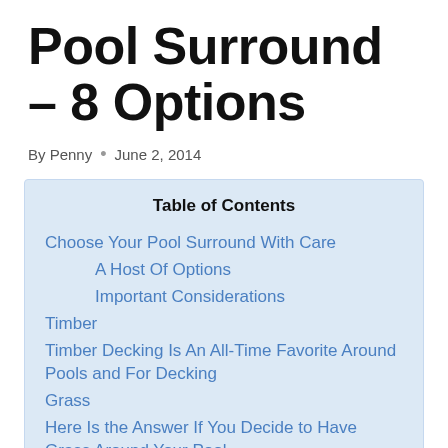Pool Surround – 8 Options
By Penny • June 2, 2014
| Table of Contents |
| --- |
| Choose Your Pool Surround With Care |
| A Host Of Options |
| Important Considerations |
| Timber |
| Timber Decking Is An All-Time Favorite Around Pools and For Decking |
| Grass |
| Here Is the Answer If You Decide to Have Grass Around Your Pool. |
| Brick paving |